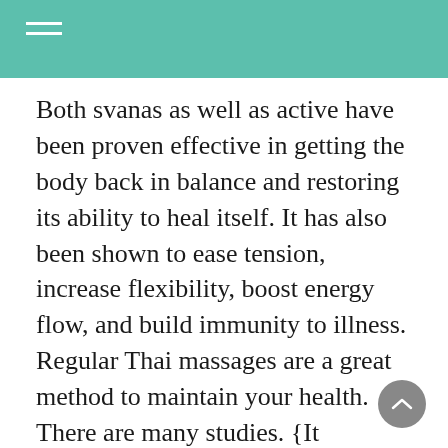Both svanas as well as active have been proven effective in getting the body back in balance and restoring its ability to heal itself. It has also been shown to ease tension, increase flexibility, boost energy flow, and build immunity to illness. Regular Thai massages are a great method to maintain your health. There are many studies. {It improves circulation and strengthens joints and muscles, enhances mobility, helps maintain and regulate metabolism, relieves stress and insomnia, helps to improve sleep, reduces fatigue and pain, improves skin